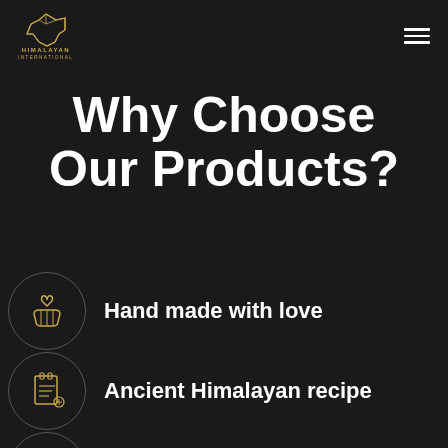[Figure (logo): Himalayan International logo with geometric dog outline and brand name]
Why Choose Our Products?
Hand made with love
Ancient Himalayan recipe
Good for dog's teeth